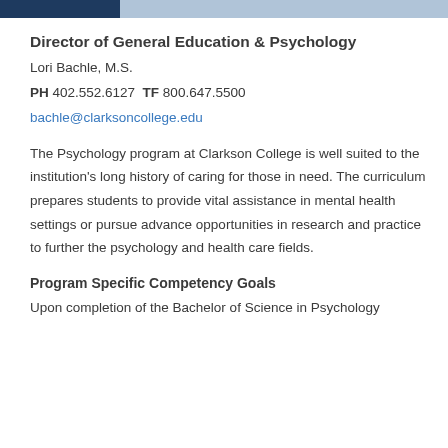Director of General Education & Psychology
Lori Bachle, M.S.
PH 402.552.6127  TF 800.647.5500
bachle@clarksoncollege.edu
The Psychology program at Clarkson College is well suited to the institution's long history of caring for those in need. The curriculum prepares students to provide vital assistance in mental health settings or pursue advance opportunities in research and practice to further the psychology and health care fields.
Program Specific Competency Goals
Upon completion of the Bachelor of Science in Psychology